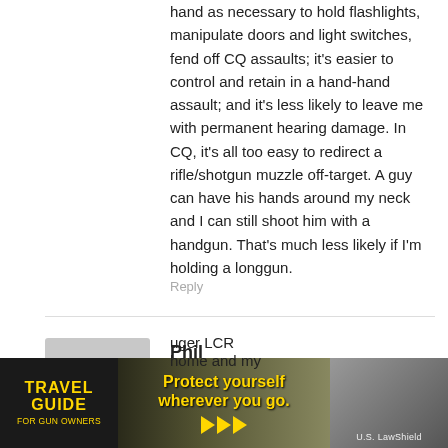hand as necessary to hold flashlights, manipulate doors and light switches, fend off CQ assaults; it's easier to control and retain in a hand-hand assault; and it's less likely to leave me with permanent hearing damage. In CQ, it's all too easy to redirect a rifle/shotgun muzzle off-target. A guy can have his hands around my neck and I can still shoot him with a handgun. That's much less likely if I'm holding a longgun.
Reply
Phil
June 29, 2014 At 18:50
If I need to shoot through walls or immediately end the fight,,,m14/m1A…..mini 14 is very maneuverable and can also repeat fast….. the shotgun for pure … uger LCR … home and my
[Figure (infographic): Travel Guide For Gun Owners advertisement banner with yellow text 'Protect yourself wherever you go.' and yellow play arrows, US LawShield logo]